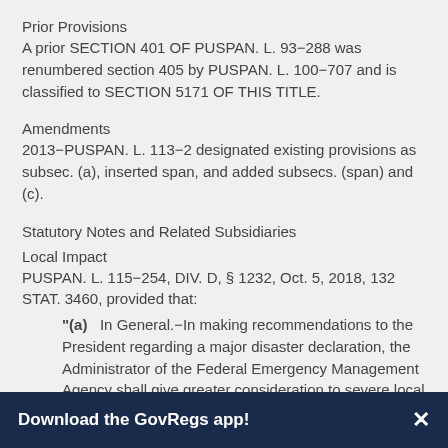Prior Provisions
A prior SECTION 401 OF PUSPAN. L. 93−288 was renumbered section 405 by PUSPAN. L. 100−707 and is classified to SECTION 5171 OF THIS TITLE.
Amendments
2013−PUSPAN. L. 113−2 designated existing provisions as subsec. (a), inserted span, and added subsecs. (span) and (c).
Statutory Notes and Related Subsidiaries
Local Impact
PUSPAN. L. 115−254, DIV. D, § 1232, Oct. 5, 2018, 132 STAT. 3460, provided that:
“(a)  In General.−In making recommendations to the President regarding a major disaster declaration, the Administrator of the Federal Emergency Management Agency shall give greater consideration to severe local impact or recent multiple disasters. Further, the Administrator shall make corresponding adjustments to the [Federal Emergency Management] Agency's policies and
Download the GovRegs app!